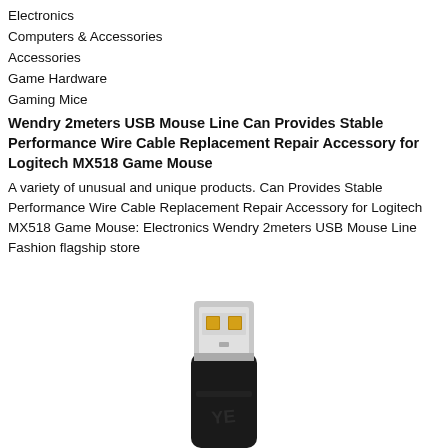Electronics
Computers & Accessories
Accessories
Game Hardware
Gaming Mice
Wendry 2meters USB Mouse Line Can Provides Stable Performance Wire Cable Replacement Repair Accessory for Logitech MX518 Game Mouse
A variety of unusual and unique products. Can Provides Stable Performance Wire Cable Replacement Repair Accessory for Logitech MX518 Game Mouse: Electronics Wendry 2meters USB Mouse Line Fashion flagship store
[Figure (photo): Close-up photo of a USB Type-A connector plug, black cable body with silver/grey metal connector tip showing gold contacts, photographed from a slight angle on white background]